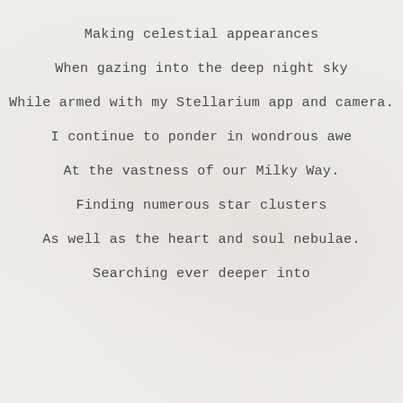Making celestial appearances
When gazing into the deep night sky
While armed with my Stellarium app and camera.
I continue to ponder in wondrous awe
At the vastness of our Milky Way.
Finding numerous star clusters
As well as the heart and soul nebulae.
Searching ever deeper into